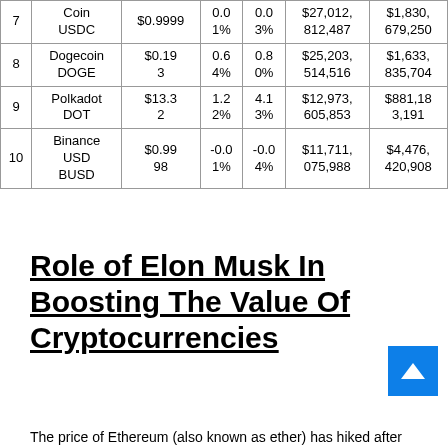| # | Name | Price | 1h% | 24h% | 24h Volume | Market Cap |
| --- | --- | --- | --- | --- | --- | --- |
| 7 | Coin
USDC | $0.9999 | 0.0
1% | 0.0
3% | $27,012,
812,487 | $1,830,
679,250 |
| 8 | Dogecoin
DOGE | $0.19
3 | 0.6
4% | 0.8
0% | $25,203,
514,516 | $1,633,
835,704 |
| 9 | Polkadot
DOT | $13.3
2 | 1.2
2% | 4.1
3% | $12,973,
605,853 | $881,18
3,191 |
| 10 | Binance
USD
BUSD | $0.99
98 | -0.0
1% | -0.0
4% | $11,711,
075,988 | $4,476,
420,908 |
Role of Elon Musk In Boosting The Value Of Cryptocurrencies
The price of Ethereum (also known as ether) has hiked after